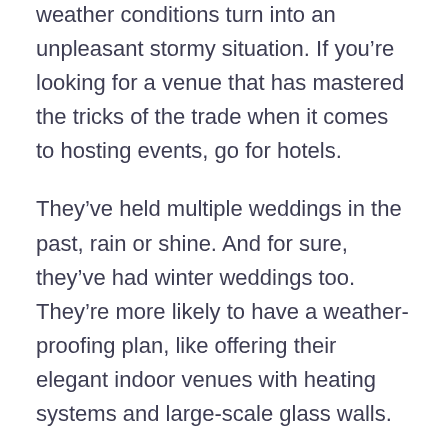weather conditions turn into an unpleasant stormy situation. If you're looking for a venue that has mastered the tricks of the trade when it comes to hosting events, go for hotels.
They've held multiple weddings in the past, rain or shine. And for sure, they've had winter weddings too. They're more likely to have a weather-proofing plan, like offering their elegant indoor venues with heating systems and large-scale glass walls.
They also have a team of caterers, lights and sounds, event stylists, event planners, and other professionals that'll cater to all of your wedding needs.